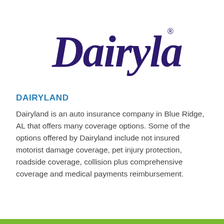[Figure (logo): Dairyland script logo in dark purple/navy with registered trademark symbol]
DAIRYLAND
Dairyland is an auto insurance company in Blue Ridge, AL that offers many coverage options. Some of the options offered by Dairyland include not insured motorist damage coverage, pet injury protection, roadside coverage, collision plus comprehensive coverage and medical payments reimbursement.